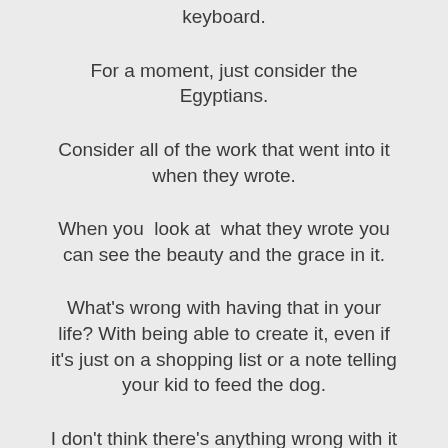keyboard.
For a moment, just consider the Egyptians.
Consider all of the work that went into it when they wrote.
When you  look at  what they wrote you can see the beauty and the grace in it.
What's wrong with having that in your life? With being able to create it, even if it's just on a shopping list or a note telling your kid to feed the dog.
I don't think there's anything wrong with it at all.
We could all do with a little more of those two things in